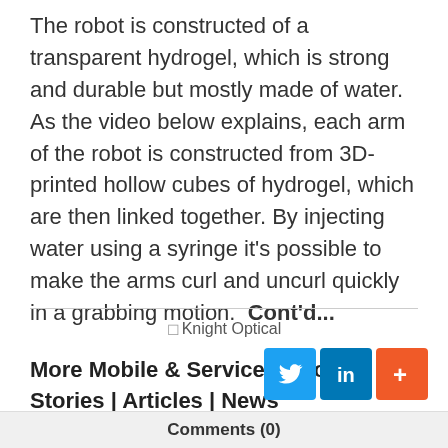The robot is constructed of a transparent hydrogel, which is strong and durable but mostly made of water. As the video below explains, each arm of the robot is constructed from 3D-printed hollow cubes of hydrogel, which are then linked together. By injecting water using a syringe it's possible to make the arms curl and uncurl quickly in a grabbing motion.  Cont'd...
[Figure (other): Knight Optical advertisement image (broken/placeholder image with alt text 'Knight Optical')]
More Mobile & Service Robots Stories | Articles | News
[Figure (other): Social sharing buttons: Twitter (blue bird icon), LinkedIn (blue 'in' icon), and a plus/share button (orange '+' icon)]
Comments (0)